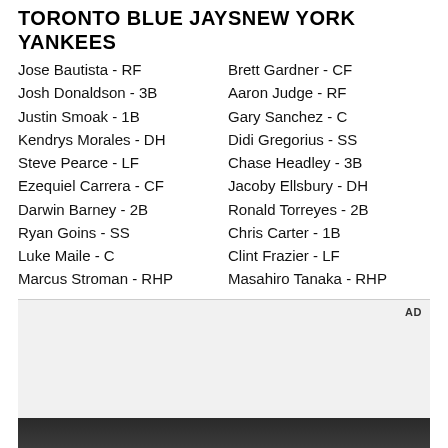TORONTO BLUE JAYSNEW YORK YANKEES
Jose Bautista - RF | Brett Gardner - CF
Josh Donaldson - 3B | Aaron Judge - RF
Justin Smoak - 1B | Gary Sanchez - C
Kendrys Morales - DH | Didi Gregorius - SS
Steve Pearce - LF | Chase Headley - 3B
Ezequiel Carrera - CF | Jacoby Ellsbury - DH
Darwin Barney - 2B | Ronald Torreyes - 2B
Ryan Goins - SS | Chris Carter - 1B
Luke Maile - C | Clint Frazier - LF
Marcus Stroman - RHP | Masahiro Tanaka - RHP
[Figure (photo): Advertisement placeholder box (gray) with AD label, followed by a dark photo of a person in a car interior]